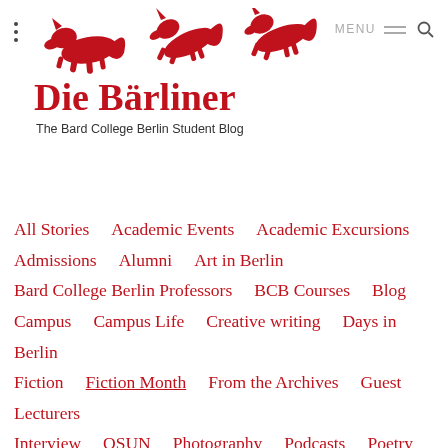Die Bärliner – The Bard College Berlin Student Blog
[Figure (logo): Three red fox/animal silhouettes running, forming the logo of Die Bärliner blog]
Die Bärliner
The Bard College Berlin Student Blog
All Stories
Academic Events
Academic Excursions
Admissions
Alumni
Art in Berlin
Bard College Berlin Professors
BCB Courses
Blog
Campus
Campus Life
Creative writing
Days in Berlin
Fiction
Fiction Month
From the Archives
Guest Lecturers
Interview
OSUN
Photography
Podcasts
Poetry Month
Poetry Month
Refugee Crisis
Senior Thesis
Student Academic Life
Student Activities
Student art
Student Life
Student Perspectives
Uncategorized